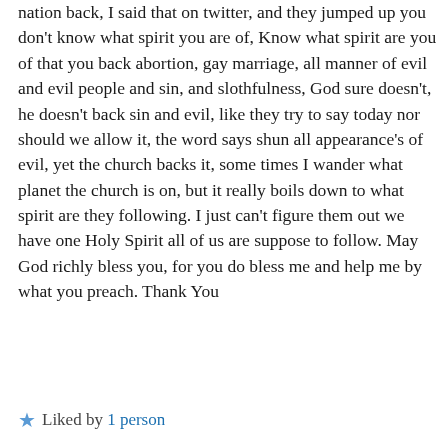nation back, I said that on twitter, and they jumped up you don't know what spirit you are of, Know what spirit are you of that you back abortion, gay marriage, all manner of evil and evil people and sin, and slothfulness, God sure doesn't, he doesn't back sin and evil, like they try to say today nor should we allow it, the word says shun all appearance's of evil, yet the church backs it, some times I wander what planet the church is on, but it really boils down to what spirit are they following. I just can't figure them out we have one Holy Spirit all of us are suppose to follow. May God richly bless you, for you do bless me and help me by what you preach. Thank You
★ Liked by 1 person